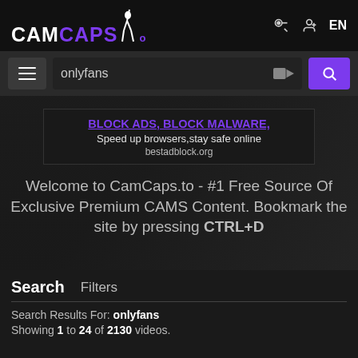CAMCAPS.to
onlyfans [search bar]
[Figure (screenshot): Dark background hero area with advertisement box]
BLOCK ADS, BLOCK MALWARE, Speed up browsers,stay safe online bestadblock.org
Welcome to CamCaps.to - #1 Free Source Of Exclusive Premium CAMS Content. Bookmark the site by pressing CTRL+D
Search   Filters
Search Results For: onlyfans
Showing 1 to 24 of 2130 videos.